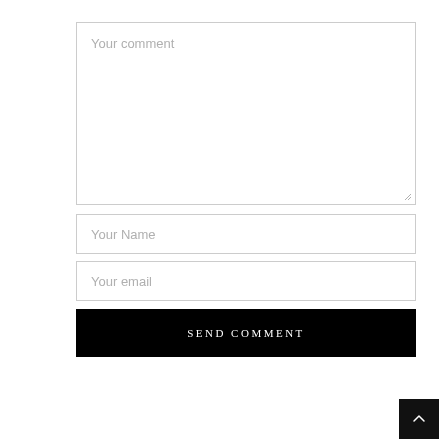[Figure (screenshot): Comment form textarea with placeholder text 'Your comment', a resize handle in bottom-right corner, bordered with light gray]
[Figure (screenshot): Text input field with placeholder text 'Your Name', bordered with light gray]
[Figure (screenshot): Text input field with placeholder text 'Your email', bordered with light gray]
[Figure (screenshot): Black submit button with white uppercase text 'SEND COMMENT']
[Figure (screenshot): Black square scroll-to-top button with white upward caret chevron icon, positioned at bottom-right]